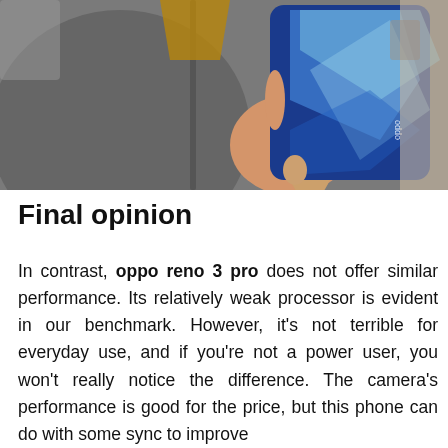[Figure (photo): A person holding a blue OPPO smartphone (OPPO Reno 3 Pro) showing its glossy blue back with geometric light reflections. The person is wearing a grey jacket with a yellow top visible underneath.]
Final opinion
In contrast, oppo reno 3 pro does not offer similar performance. Its relatively weak processor is evident in our benchmark. However, it's not terrible for everyday use, and if you're not a power user, you won't really notice the difference. The camera's performance is good for the price, but this phone can do with some sync to improve